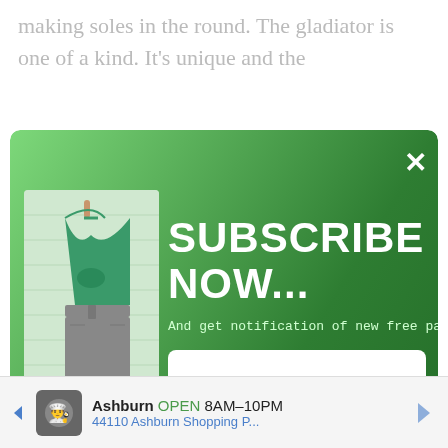making soles in the round. The gladiator is one of a kind. It’s unique and the
[Figure (screenshot): Email subscription modal popup with green gradient background, featuring a product image of a green crochet halter top on a mannequin, 'SUBSCRIBE NOW...' title, subtitle 'And get notification of new free patterns!', two input fields for name and email, and a submit button. A close (X) button is in the top right corner.]
Ashburn  OPEN 8AM–10PM  44110 Ashburn Shopping P...